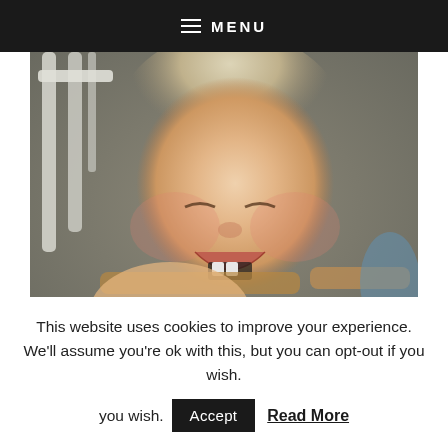≡ MENU
[Figure (photo): A smiling baby with blonde hair lying on the floor, laughing with eyes squinted, wearing a grey outfit with red details. A white wooden chair and wooden chair rail visible in background on grey carpet.]
This website uses cookies to improve your experience. We'll assume you're ok with this, but you can opt-out if you wish.
Accept   Read More